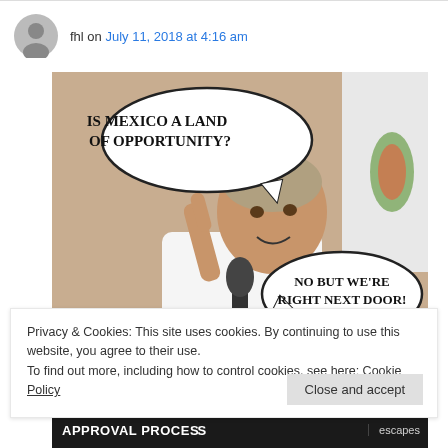fhl on July 11, 2018 at 4:16 am
[Figure (photo): Meme image of a man in a white shirt holding a microphone with one finger raised. Speech bubble top-left reads: 'IS MEXICO A LAND OF OPPORTUNITY?' Speech bubble bottom-right reads: 'NO BUT WE'RE RIGHT NEXT DOOR!']
Privacy & Cookies: This site uses cookies. By continuing to use this website, you agree to their use.
To find out more, including how to control cookies, see here: Cookie Policy
Close and accept
[Figure (screenshot): Bottom strip showing text 'APPROVAL PROCESS' in white on dark background and 'escapes' on right]